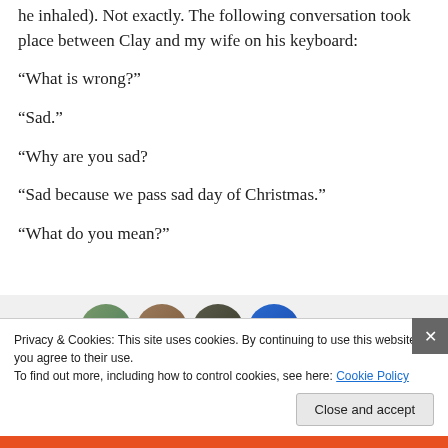he inhaled). Not exactly. The following conversation took place between Clay and my wife on his keyboard:
“What is wrong?”
“Sad.”
“Why are you sad?
“Sad because we pass sad day of Christmas.”
“What do you mean?”
[Figure (photo): Partial view of four circular avatar images in a row: green, brown, dark, and blue with a plus icon]
Privacy & Cookies: This site uses cookies. By continuing to use this website, you agree to their use.
To find out more, including how to control cookies, see here: Cookie Policy
Close and accept